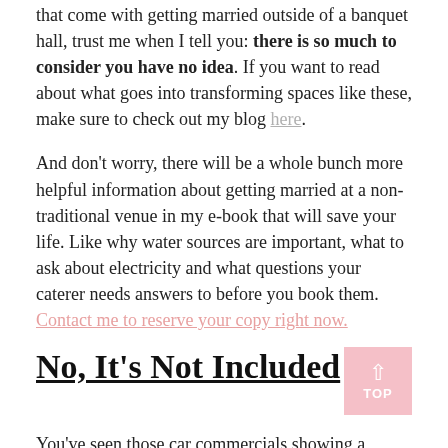that come with getting married outside of a banquet hall, trust me when I tell you: there is so much to consider you have no idea. If you want to read about what goes into transforming spaces like these, make sure to check out my blog here.
And don't worry, there will be a whole bunch more helpful information about getting married at a non-traditional venue in my e-book that will save your life. Like why water sources are important, what to ask about electricity and what questions your caterer needs answers to before you book them. Contact me to reserve your copy right now.
No, It's Not Included
You've seen those car commercials showing a